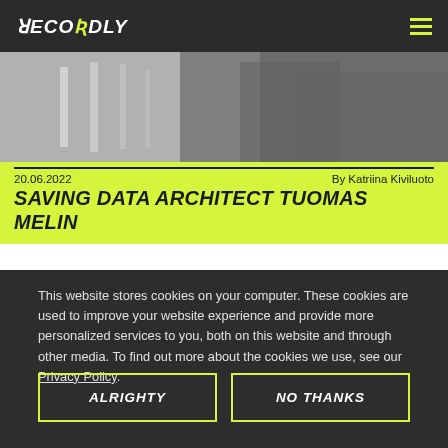RECORDLY
[Figure (photo): Black and white photo of a person in a denim jacket, close-up background crop]
20.06.2022   By Katriina Kiviluoto
SAVING DATA ARCHITECT TUOMAS MELIN
This website stores cookies on your computer. These cookies are used to improve your website experience and provide more personalized services to you, both on this website and through other media. To find out more about the cookies we use, see our Privacy Policy.
ALRIGHTY
NO THANKS